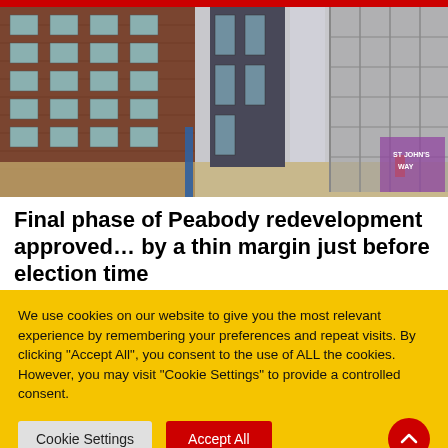[Figure (photo): Photograph of a Peabody housing redevelopment construction site showing brick residential buildings and scaffolding on a grey overcast day.]
Final phase of Peabody redevelopment approved… by a thin margin just before election time
We use cookies on our website to give you the most relevant experience by remembering your preferences and repeat visits. By clicking "Accept All", you consent to the use of ALL the cookies. However, you may visit "Cookie Settings" to provide a controlled consent.